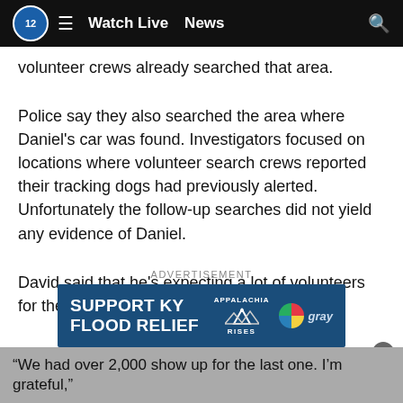Watch Live  News
volunteer crews already searched that area.
Police say they also searched the area where Daniel's car was found. Investigators focused on locations where volunteer search crews reported their tracking dogs had previously alerted. Unfortunately the follow-up searches did not yield any evidence of Daniel.
David said that he's expecting a lot of volunteers for their search Saturday.
ADVERTISEMENT
[Figure (illustration): Advertisement banner: SUPPORT KY FLOOD RELIEF with Appalachia Rises and Gray logos on dark blue background]
“We had over 2,000 show up for the last one. I’m grateful,”